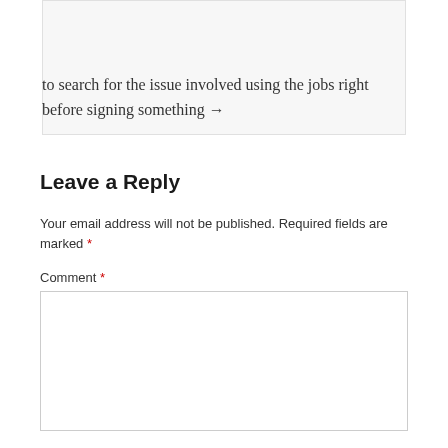down your full SOP, modify to search for the issue involved using the jobs right before signing something →
Leave a Reply
Your email address will not be published. Required fields are marked *
Comment *